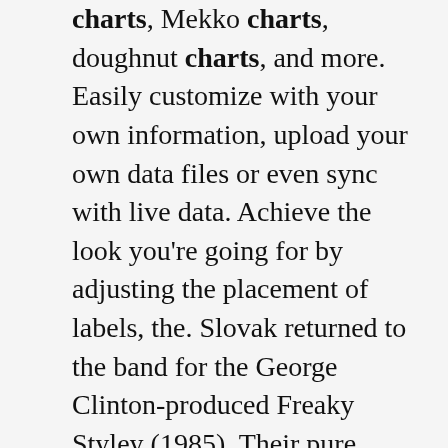charts, Mekko charts, doughnut charts, and more. Easily customize with your own information, upload your own data files or even sync with live data. Achieve the look you're going for by adjusting the placement of labels, the. Slovak returned to the band for the George Clinton-produced Freaky Styley (1985). Their pure funk album, its songs are noticeably influenced by Clinton and Slovak, whose guitar playing helped shape the group as a cohesive unit. The Uplift Mofo Party Plan (1987) was produced by Michael Beinhorn and featured all four founding members.. 36 Best Sex Songs of All Time - Sexiest Bedroom Playlist. Create your chart. First, choose a word processing software to create your company organizational chart. One of the most common types of software used is Microsoft Office which is both user-friendly and readily available. This software also